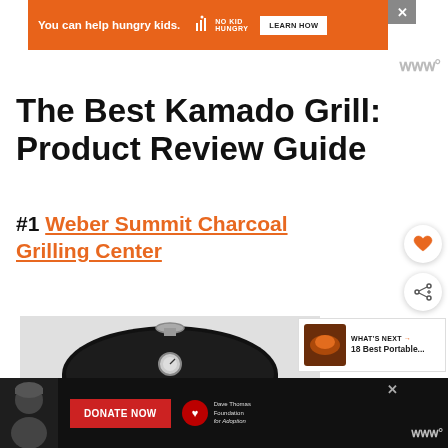[Figure (infographic): Orange advertisement banner: 'You can help hungry kids.' with No Kid Hungry logo and LEARN HOW button. Close X button top right.]
[Figure (logo): Weber logo watermark in gray, top right corner]
The Best Kamado Grill: Product Review Guide
#1 Weber Summit Charcoal Grilling Center
[Figure (photo): Black Weber Summit Charcoal Grill shown from front/top angle — large black domed lid with chrome thermometer gauge and chrome handle accents]
[Figure (infographic): WHAT'S NEXT panel: thumbnail of grilled food, text '18 Best Portable...']
[Figure (infographic): Bottom black advertisement bar: person in winter hat, DONATE NOW red button, Dave Thomas Foundation for Adoption logo, Weber logo watermark]